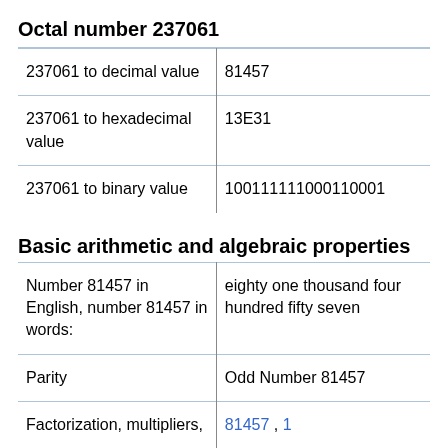Octal number 237061
| 237061 to decimal value | 81457 |
| 237061 to hexadecimal value | 13E31 |
| 237061 to binary value | 100111111000110001 |
Basic arithmetic and algebraic properties
| Number 81457 in English, number 81457 in words: | eighty one thousand four hundred fifty seven |
| Parity | Odd Number 81457 |
| Factorization, multipliers, | 81457 , 1 |